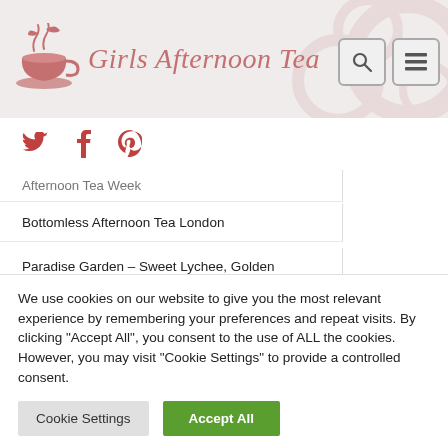Girls Afternoon Tea
Afternoon Tea Week
Bottomless Afternoon Tea London
Paradise Garden – Sweet Lychee, Golden Grapefruit, Rose Cocktail
Get 15% Off Afternoon Tea at Virgin Experience Days
We use cookies on our website to give you the most relevant experience by remembering your preferences and repeat visits. By clicking "Accept All", you consent to the use of ALL the cookies. However, you may visit "Cookie Settings" to provide a controlled consent.